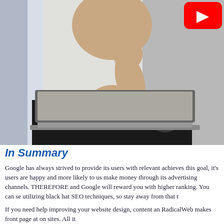[Figure (photo): A person in a black t-shirt with a globe/Firefox logo, sitting behind a laptop, gesturing with one hand raised. A YouTube play button overlay appears in the top right corner.]
In Summary
Google has always strived to provide its users with relevant and achieves this goal, it's users are happy and more likely to us make money through its advertising channels. THEREFORE and Google will reward you with higher ranking. You can se utilizing black hat SEO techniques, so stay away from that t
If you need help improving your website design, content an RadicalWeb makes front page at on sites. All it